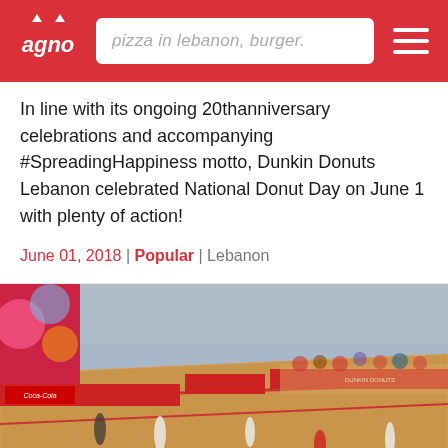pizza in lebanon, burger.
In line with its ongoing 20thanniversary celebrations and accompanying #SpreadingHappiness motto, Dunkin Donuts Lebanon celebrated National Donut Day on June 1 with plenty of action!
June 01, 2018 | Popular | Lebanon
[Figure (photo): Aerial view of an indoor basketball/streetball court with red and white branding, spectators around the sidelines, and multiple players on the court]
EVENTS
Dunkin' Donuts Lebanon Wraps up Successful Streetball